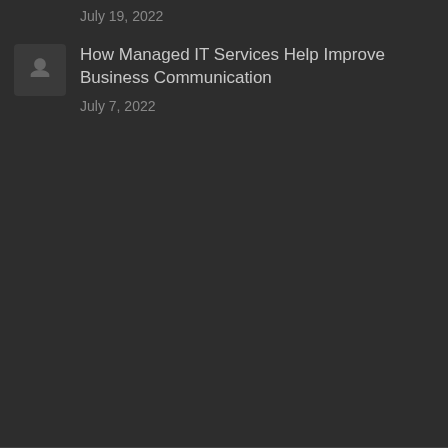July 19, 2022
[Figure (illustration): Small avatar/thumbnail icon placeholder with a dark background]
How Managed IT Services Help Improve Business Communication
July 7, 2022